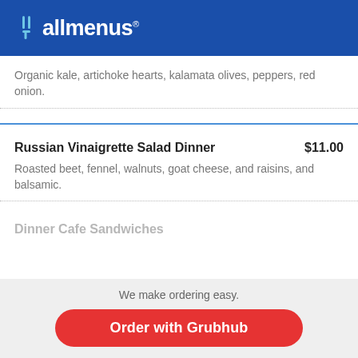[Figure (logo): allmenus logo — white fork/knife icon and white text 'allmenus' with registered trademark symbol on a blue background]
Organic kale, artichoke hearts, kalamata olives, peppers, red onion.
Russian Vinaigrette Salad Dinner   $11.00
Roasted beet, fennel, walnuts, goat cheese, and raisins, and balsamic.
Dinner Cafe Sandwiches
We make ordering easy.
Order with Grubhub